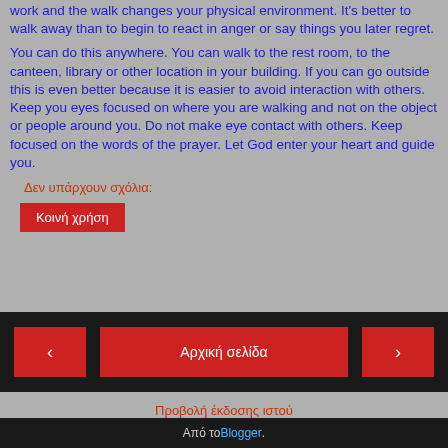work and the walk changes your physical environment.  It's better to walk away than to begin to react in anger or say things you later regret.
You can do this anywhere. You can walk to the rest room, to the canteen, library or other location in your building.  If you can go outside this is even better because it is easier to avoid interaction with others.  Keep you eyes focused on where you are walking and not on the object or people around you. Do not make eye contact with others.  Keep focused on the words of the prayer. Let God enter your heart and guide you.
Δεν υπάρχουν σχόλια:
Κοινή χρήση
Αρχική σελίδα
Προβολή έκδοσης ιστού
Από το Blogger.